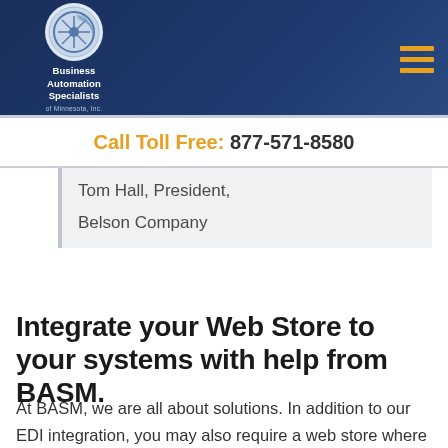[Figure (logo): Business Automation Specialists logo in circular emblem with company name text below, on dark navy blue header bar with hamburger menu icon on right]
Call Toll Free: 877-571-8580
Tom Hall, President,
Belson Company
Integrate your Web Store to your systems with help from BASM.
At BASM, we are all about solutions. In addition to our EDI integration, you may also require a web store where Web orders can be merged with your existing systems. Talk to us regarding how we can integrate your online stores to your manufacturing systems to track and